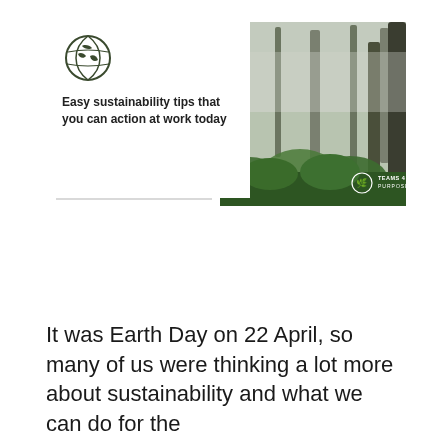[Figure (illustration): A composite image with a white card on the left showing a globe icon and text 'Easy sustainability tips that you can action at work today', overlaid on a grey card at a slight angle, and on the right a forest photo with misty green trees and a Teams 4 Purpose logo.]
It was Earth Day on 22 April, so many of us were thinking a lot more about sustainability and what we can do for the